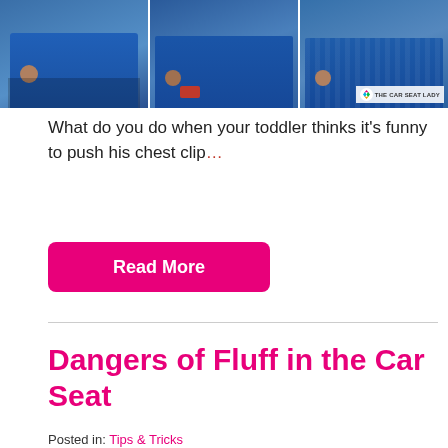[Figure (photo): Three-panel photo strip showing a toddler in a car seat from different angles, with 'THE CAR SEAT LADY' watermark logo in the bottom right of the third panel.]
What do you do when your toddler thinks it's funny to push his chest clip…
Read More
Dangers of Fluff in the Car Seat
Posted in: Tips & Tricks
[Figure (photo): Four-panel photo strip on black background showing: a yellow duckling, a jar of Fluff marshmallow cream, a baby in a fluffy snowsuit in a car seat, and a baby in a car seat with headrest padding. TheCarSeatLady.com watermark visible at top center.]